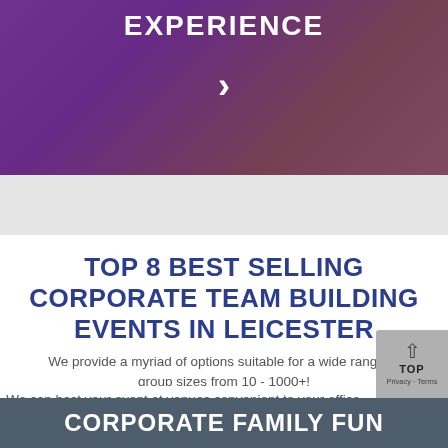[Figure (photo): Hero banner image with purple and brown/gold tones, showing a dark office/gaming environment with purple overlay gradient. Text overlay reads EXPERIENCE with a right arrow chevron below it.]
TOP 8 BEST SELLING CORPORATE TEAM BUILDING EVENTS IN LEICESTER
We provide a myriad of options suitable for a wide range of group sizes from 10 - 1000+!
We can host your event at venues convenient to your office, with our Free Leicester Venue Finding Service
CORPORATE FAMILY FUN